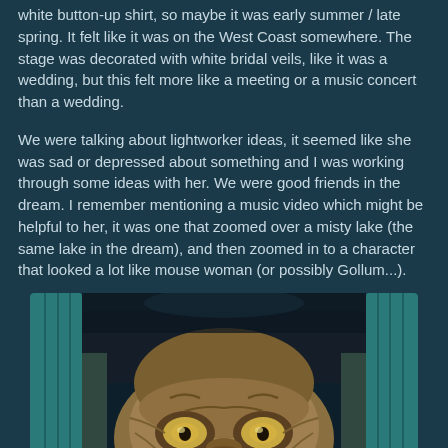white button-up shirt, so maybe it was early summer / late spring. It felt like it was on the West Coast somewhere. The stage was decorated with white bridal veils, like it was a wedding, but this felt more like a meeting or a music concert than a wedding.
We were talking about lightworker ideas, it seemed like she was sad or depressed about something and I was working through some ideas with her. We were good friends in the dream. I remember mentioning a music video which might be helpful to her, it was one that zoomed over a misty lake (the same lake in the dream), and then zoomed in to a character that looked a lot like mouse woman (or possibly Gollum...).
[Figure (photo): A bronze or metallic sculptural figure resembling a stylized animal or mythological creature face (possibly mouse woman or similar Northwest Coast art figure), with large expressive eyes and detailed carved/etched features. The sculpture appears to be photographed indoors with teal/turquoise framing elements visible on the sides.]